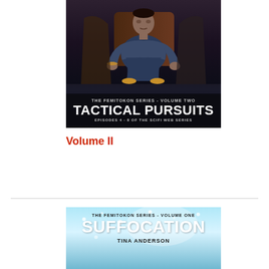[Figure (illustration): Book cover for 'Tactical Pursuits' - The Femitokon Series Volume Two. Dark background with a character in a blue uniform seated in a chair. Text reads: THE FEMITOKON SERIES - VOLUME TWO, TACTICAL PURSUITS, EPISODES 4-8 OF THE SCIFI WEB SERIES.]
Volume II
[Figure (illustration): Book cover for 'Suffocation' - The Femitokon Series Volume One. Light blue/teal snowy background. Text reads: THE FEMITOKON SERIES - VOLUME ONE, SUFFOCATION, TINA ANDERSON.]